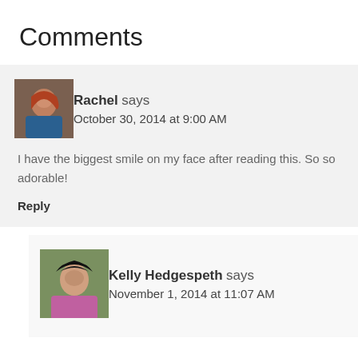Comments
Rachel says
October 30, 2014 at 9:00 AM
I have the biggest smile on my face after reading this. So so adorable!
Reply
Kelly Hedgespeth says
November 1, 2014 at 11:07 AM